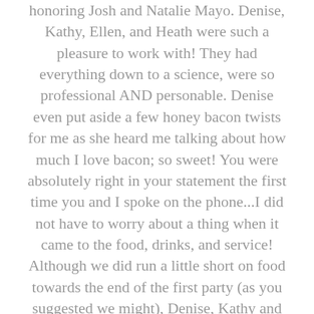honoring Josh and Natalie Mayo.  Denise, Kathy, Ellen, and Heath were such a pleasure to work with!  They had everything down to a science, were so professional AND personable.  Denise even put aside a few honey bacon twists for me as she heard me talking about how much I love bacon; so sweet!  You were absolutely right in your statement the first time you and I spoke on the phone...I did not have to worry about a thing when it came to the food, drinks, and service! Although we did run a little short on food towards the end of the first party (as you suggested we might),  Denise, Kathy and